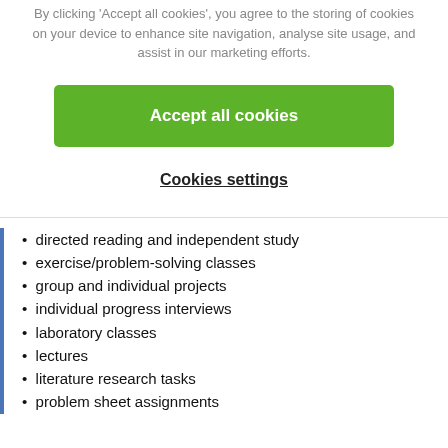By clicking 'Accept all cookies', you agree to the storing of cookies on your device to enhance site navigation, analyse site usage, and assist in our marketing efforts.
Accept all cookies
Cookies settings
directed reading and independent study
exercise/problem-solving classes
group and individual projects
individual progress interviews
laboratory classes
lectures
literature research tasks
problem sheet assignments